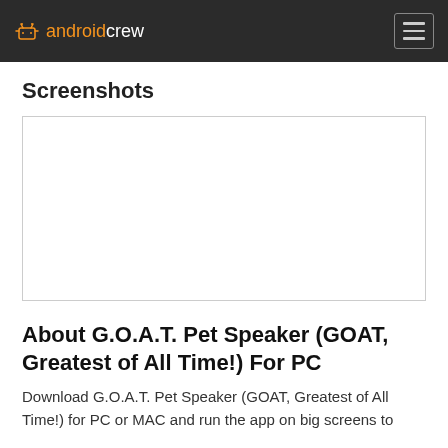android crew
Screenshots
[Figure (screenshot): Empty white screenshot placeholder box with a light gray border]
About G.O.A.T. Pet Speaker (GOAT, Greatest of All Time!) For PC
Download G.O.A.T. Pet Speaker (GOAT, Greatest of All Time!) for PC or MAC and run the app on big screens to